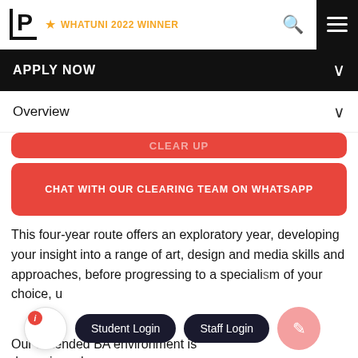[Figure (screenshot): University website header with logo P, WhatUni 2022 Winner badge, search icon, and hamburger menu on dark background]
APPLY NOW
Overview
CHAT WITH OUR CLEARING TEAM ON WHATSAPP
This four-year route offers an exploratory year, developing your insight into a range of art, design and media skills and approaches, before progressing to a specialism of your choice, u...
Our Extended BA environment is dynamic and